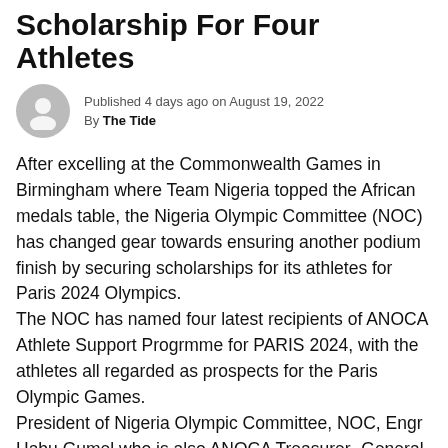Scholarship For Four Athletes
Published 4 days ago on August 19, 2022
By The Tide
After excelling at the Commonwealth Games in Birmingham where Team Nigeria topped the African medals table, the Nigeria Olympic Committee (NOC) has changed gear towards ensuring another podium finish by securing scholarships for its athletes for Paris 2024 Olympics.
The NOC has named four latest recipients of ANOCA Athlete Support Progrmme for PARIS 2024, with the athletes all regarded as prospects for the Paris Olympic Games.
President of Nigeria Olympic Committee, NOC, Engr Habu Gumel who is also ANOCA Treasurer- General, announced Enekwechi Chukwuebuka (Athletics), Kolawole Esther Omolayo (Wrestling), Onponne Eze